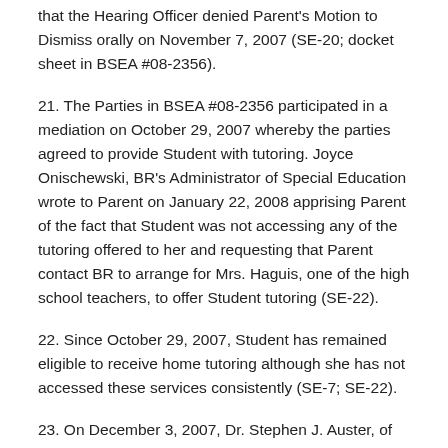that the Hearing Officer denied Parent's Motion to Dismiss orally on November 7, 2007 (SE-20; docket sheet in BSEA #08-2356).
21. The Parties in BSEA #08-2356 participated in a mediation on October 29, 2007 whereby the parties agreed to provide Student with tutoring. Joyce Onischewski, BR's Administrator of Special Education wrote to Parent on January 22, 2008 apprising Parent of the fact that Student was not accessing any of the tutoring offered to her and requesting that Parent contact BR to arrange for Mrs. Haguis, one of the high school teachers, to offer Student tutoring (SE-22).
22. Since October 29, 2007, Student has remained eligible to receive home tutoring although she has not accessed these services consistently (SE-7; SE-22).
23. On December 3, 2007, Dr. Stephen J. Auster, of